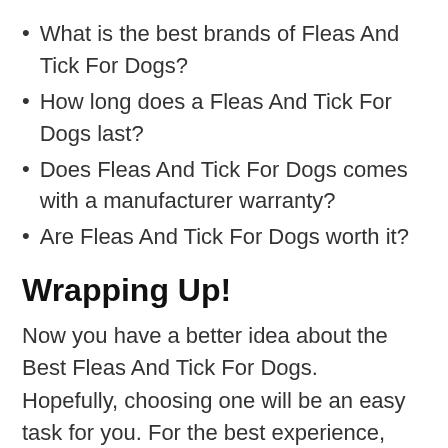What is the best brands of Fleas And Tick For Dogs?
How long does a Fleas And Tick For Dogs last?
Does Fleas And Tick For Dogs comes with a manufacturer warranty?
Are Fleas And Tick For Dogs worth it?
Wrapping Up!
Now you have a better idea about the Best Fleas And Tick For Dogs. Hopefully, choosing one will be an easy task for you. For the best experience, follow our advice and recommendations. It will help you find the product.
With that, we would like to conclude here by